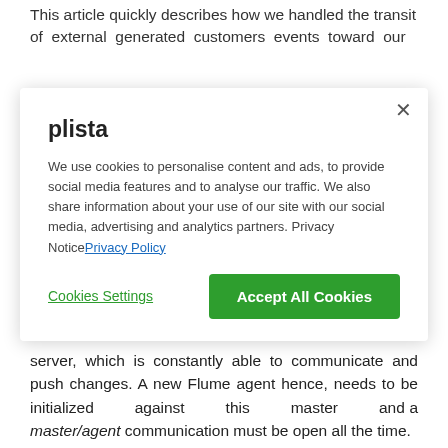This article quickly describes how we handled the transit of external generated customers events toward our
plista
We use cookies to personalise content and ads, to provide social media features and to analyse our traffic. We also share information about your use of our site with our social media, advertising and analytics partners. Privacy NoticePrivacy Policy
Cookies Settings
Accept All Cookies
server, which is constantly able to communicate and push changes. A new Flume agent hence, needs to be initialized against this master and a master/agent communication must be open all the time.